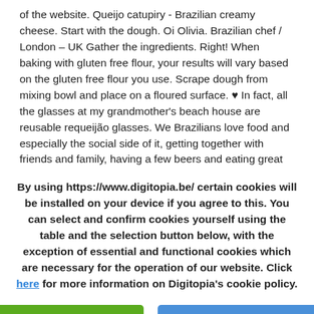of the website. Queijo catupiry - Brazilian creamy cheese. Start with the dough. Oi Olivia. Brazilian chef / London – UK Gather the ingredients. Right! When baking with gluten free flour, your results will vary based on the gluten free flour you use. Scrape dough from mixing bowl and place on a floured surface. ♥ In fact, all the glasses at my grandmother's beach house are reusable requeijão glasses. We Brazilians love food and especially the social side of it, getting together with friends and family, having a few beers and eating great food. More », This post may contain affiliate links. So here's the standard recipe for pastel dough, with the obligatory shot of cachaça. ??? Pizza de Frango ao catupiry – Chicken
By using https://www.digitopia.be/ certain cookies will be installed on your device if you agree to this. You can select and confirm cookies yourself using the table and the selection button below, with the exception of essential and functional cookies which are necessary for the operation of our website. Click here for more information on Digitopia's cookie policy.